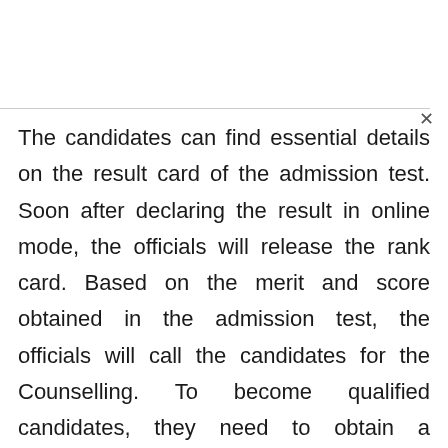The candidates can find essential details on the result card of the admission test. Soon after declaring the result in online mode, the officials will release the rank card. Based on the merit and score obtained in the admission test, the officials will call the candidates for the Counselling. To become qualified candidates, they need to obtain a minimum qualifying mark in the admission test. Those candidates are asked to attend the counselling process at allotted venues.